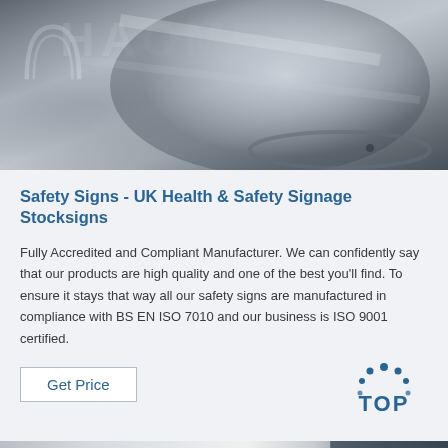[Figure (photo): Close-up photo of a shiny metallic machined cylinder or roller, with HAOME watermark text and arc logo in the upper left area]
Safety Signs - UK Health & Safety Signage Stocksigns
Fully Accredited and Compliant Manufacturer. We can confidently say that our products are high quality and one of the best you'll find. To ensure it stays that way all our safety signs are manufactured in compliance with BS EN ISO 7010 and our business is ISO 9001 certified.
[Figure (other): Get Price button and TOP badge logo]
[Figure (photo): Partial photo at bottom showing industrial/manufacturing scene]